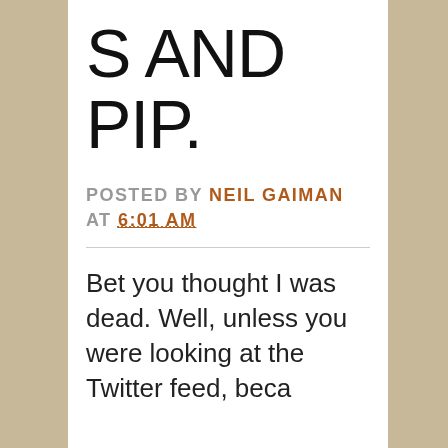S AND PIP.
POSTED BY NEIL GAIMAN AT 6:01 AM
Bet you thought I was dead. Well, unless you were looking at the Twitter feed, because the